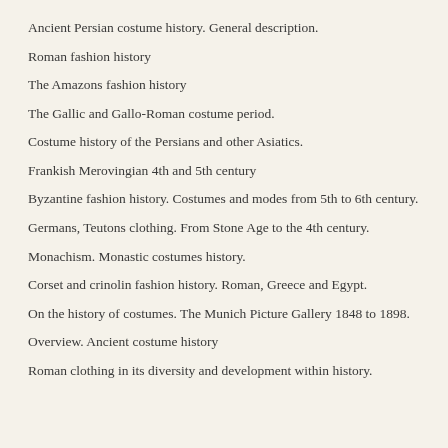Ancient Persian costume history. General description.
Roman fashion history
The Amazons fashion history
The Gallic and Gallo-Roman costume period.
Costume history of the Persians and other Asiatics.
Frankish Merovingian 4th and 5th century
Byzantine fashion history. Costumes and modes from 5th to 6th century.
Germans, Teutons clothing. From Stone Age to the 4th century.
Monachism. Monastic costumes history.
Corset and crinolin fashion history. Roman, Greece and Egypt.
On the history of costumes. The Munich Picture Gallery 1848 to 1898.
Overview. Ancient costume history
Roman clothing in its diversity and development within history.